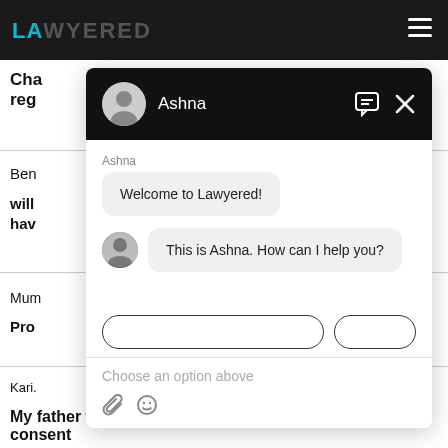LAWYERED
[Figure (screenshot): Chat widget overlay showing a chatbot named Ashna on the Lawyered legal platform. The widget has a dark header with the agent's avatar and name 'Ashna', with a chat bubble icon and X close button. The chat body shows 'Welcome to Lawyered!' as the first message and 'This is Ashna. How can I help you?' as the second message with an avatar. Below are quick reply buttons (partially visible) and an input area with 'Choose an option above' placeholder text and attachment/emoji icons.]
My father transfered a land to his daughter without my consent